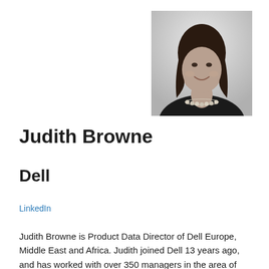[Figure (photo): Black and white professional headshot of Judith Browne, a woman with dark shoulder-length hair wearing a black top and pearl necklace, smiling at the camera.]
Judith Browne
Dell
LinkedIn
Judith Browne is Product Data Director of Dell Europe, Middle East and Africa. Judith joined Dell 13 years ago, and has worked with over 350 managers in the area of